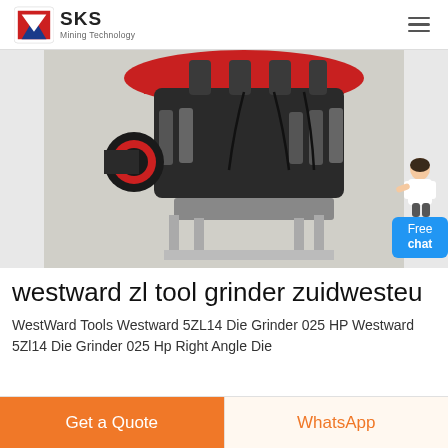SKS Mining Technology
[Figure (photo): Industrial cone crusher or grinding machine with red top, black body, mounted on a metal frame. A chat widget with a person illustration and 'Free chat' blue button is overlaid on the right side.]
westward zl tool grinder zuidwesteu
WestWard Tools Westward 5ZL14 Die Grinder 025 HP Westward 5Zl14 Die Grinder 025 Hp Right Angle Die
Get a Quote
WhatsApp